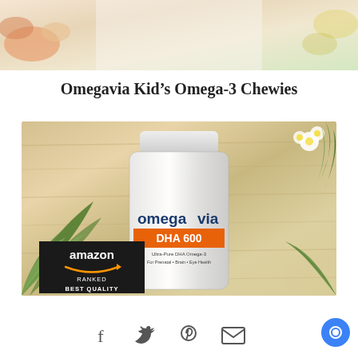[Figure (photo): Top decorative photo strip with soft orange and yellow tones, partially visible food/supplement items]
Omegavia Kid’s Omega-3 Chewies
[Figure (photo): Omegavia DHA 600 supplement bottle on a wooden background with green plants and white flowers. Black Amazon 'Ranked Best Quality' badge in lower left corner of the image.]
[Figure (infographic): Social sharing icons row: Facebook, Twitter, Pinterest, Email, and a blue circular button on the right]